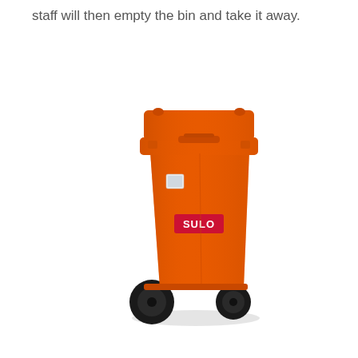staff will then empty the bin and take it away.
[Figure (photo): Orange SULO wheeled bin (wheelie bin) with two black wheels, orange body and lid, and a red SULO logo label on the front.]